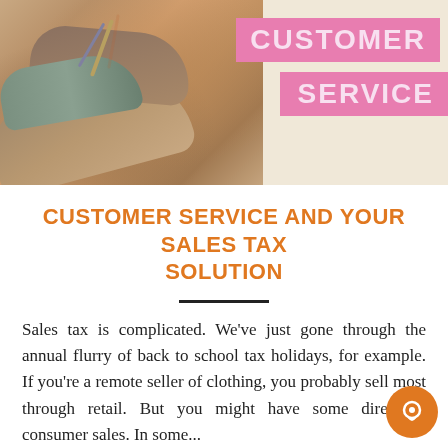[Figure (photo): Hero image showing hands writing/drawing at a desk with pencils, overlaid with a pink 'CUSTOMER SERVICE' banner in the upper right. Left half shows a warm-toned photo of hands at a desk; right half is a light cream background.]
CUSTOMER SERVICE AND YOUR SALES TAX SOLUTION
Sales tax is complicated. We've just gone through the annual flurry of back to school tax holidays, for example. If you're a remote seller of clothing, you probably sell most through retail. But you might have some direct to consumer sales. In some...